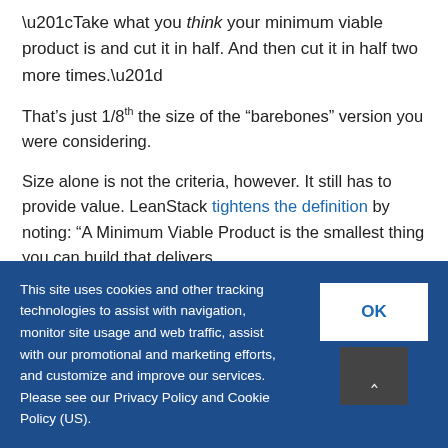“Take what you think your minimum viable product is and cut it in half. And then cut it in half two more times.”
That’s just 1/8th the size of the “barebones” version you were considering.
Size alone is not the criteria, however. It still has to provide value. LeanStack tightens the definition by noting: “A Minimum Viable Product is the smallest thing you can build that delivers
This site uses cookies and other tracking technologies to assist with navigation, monitor site usage and web traffic, assist with our promotional and marketing efforts, and customize and improve our services. Please see our Privacy Policy and Cookie Policy (US).